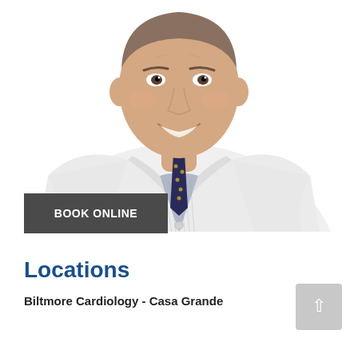[Figure (photo): Professional headshot of a male doctor wearing a white lab coat with a dark patterned tie and light blue plaid shirt. He is smiling at the camera. White background.]
BOOK ONLINE
Locations
Biltmore Cardiology - Casa Grande